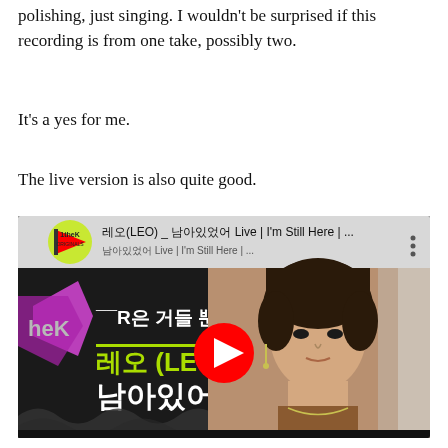polishing, just singing. I wouldn't be surprised if this recording is from one take, possibly two.
It's a yes for me.
The live version is also quite good.
[Figure (screenshot): YouTube video thumbnail for 레오(LEO) _ 남아있었어 Live | I'm Still Here | ... showing Korean text overlaid on an image of a young man, with the 1theK Originals logo and a YouTube play button.]